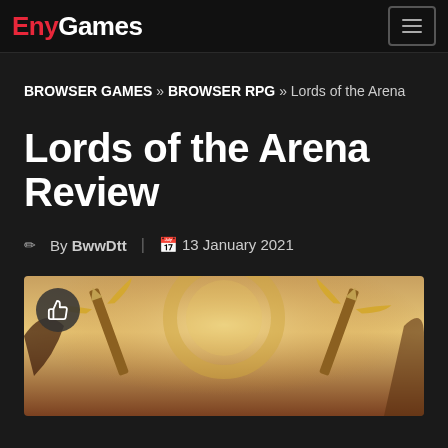EnyGames
BROWSER GAMES » BROWSER RPG » Lords of the Arena
Lords of the Arena Review
By BwwDtt | 13 January 2021
[Figure (illustration): Game artwork for Lords of the Arena showing fantasy swords with golden wings against a warm glowing background, with a like/thumbs-up button overlay in the bottom-left corner]